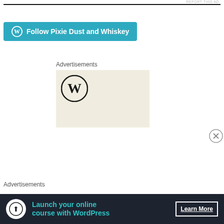REPORT THIS AD
[Figure (other): Follow Pixie Dust and Whiskey button with WordPress logo icon, teal/blue colored button]
Advertisements
[Figure (logo): WordPress logo (W in circle) on beige/cream background advertisement box]
[Figure (other): Close/dismiss button (circled X)]
Advertisements
[Figure (other): Dark navy advertisement banner: WordPress tree/upload icon on white circle, teal text 'Launch your online course with WordPress', white 'Learn More' button with underline]